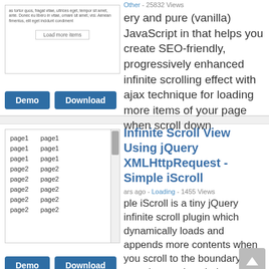s ago - Other - 25832 Views
ery and pure (vanilla) JavaScript in that helps you create SEO-friendly, progressively enhanced infinite scrolling effect with ajax technique for loading more items of your page when scroll down.
[Figure (screenshot): Preview box showing lorem ipsum text and a 'Load more items' button]
Demo  Download
Infinite Scroll View Using jQuery XMLHttpRequest - Simple iScroll
s ago - Loading - 1455 Views
[Figure (screenshot): Scrollable list preview showing page1 and page2 items in two columns]
ple iScroll is a tiny jQuery infinite scroll plugin which dynamically loads and appends more contents when you scroll to the boundary of a container or the whole document.
Demo  Download